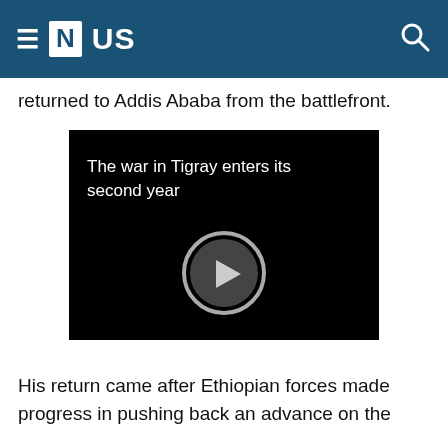≡ [N] US
returned to Addis Ababa from the battlefront.
[Figure (screenshot): Video thumbnail with black background showing title 'The war in Tigray enters its second year' and a circular play button icon in the center.]
His return came after Ethiopian forces made progress in pushing back an advance on the